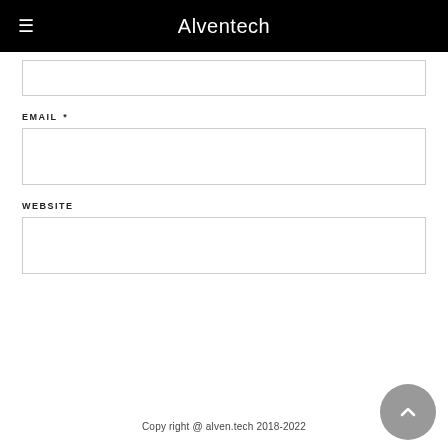Alventech
EMAIL *
WEBSITE
Copy right @ alven.tech 2018-2022